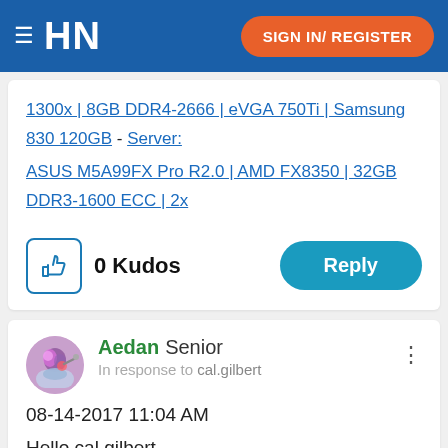HN | SIGN IN/ REGISTER
1300x | 8GB DDR4-2666 | eVGA 750Ti | Samsung 830 120GB - Server: ASUS M5A99FX Pro R2.0 | AMD FX8350 | 32GB DDR3-1600 ECC | 2x
0 Kudos
Reply
Aedan Senior
In response to cal.gilbert
08-14-2017 11:04 AM
Hello cal.gilbert,
Thanks for posting and welcome to the